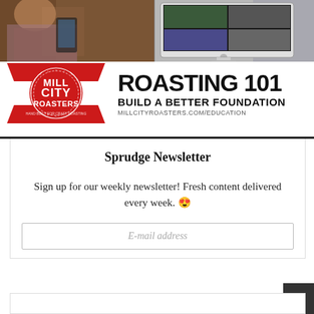[Figure (photo): Mill City Roasters advertisement banner showing a person holding a phone on the left side and a computer monitor with video call on the right side, with the Mill City Roasters logo and text 'ROASTING 101 - BUILD A BETTER FOUNDATION - MILLCITYROASTERS.COM/EDUCATION']
Sprudge Newsletter
Sign up for our weekly newsletter! Fresh content delivered every week. 😍
E-mail address